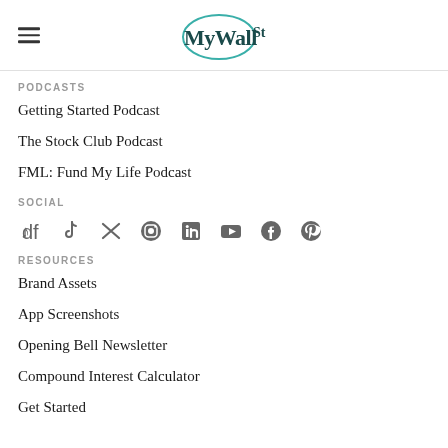MyWallSt
PODCASTS
Getting Started Podcast
The Stock Club Podcast
FML: Fund My Life Podcast
SOCIAL
[Figure (illustration): Social media icons row: TikTok, Twitter/X, Instagram, LinkedIn, YouTube, Facebook, Pinterest]
RESOURCES
Brand Assets
App Screenshots
Opening Bell Newsletter
Compound Interest Calculator
Get Started